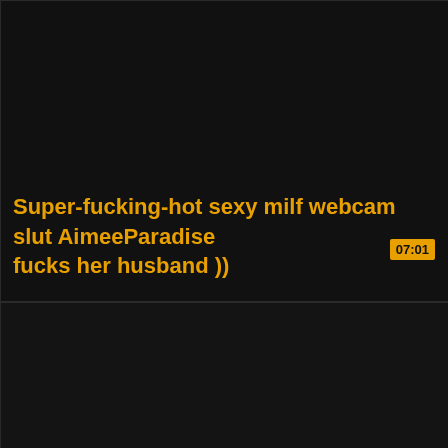[Figure (screenshot): Video thumbnail — dark/black background with a timestamp badge showing 07:01 in the top-right corner of the thumbnail area, and a yellow-orange video title overlaid at the bottom.]
Super-fucking-hot sexy milf webcam slut AimeeParadise fucks her husband ))